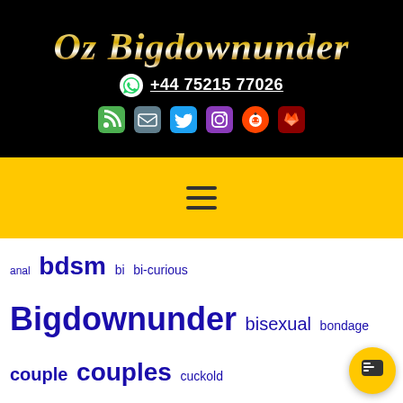Oz Bigdownunder
+44 75215 77026
[Figure (infographic): Social media icons: RSS (green), Email (blue-grey), Twitter (blue), Instagram (purple), Reddit (orange-red), Gitlab/Foxy (dark red)]
[Figure (infographic): Hamburger menu icon (three horizontal lines) on yellow background]
anal bdsm bi bi-curious Bigdownunder bisexual bondage couple couples cuckold cuckolding deepthroat domination Dubai Dungeon duo duos elust erotica erotic fiction erotic non-fiction escort fetish Fiction forced-bi forcedbi interview London Mayfair milady mistress New York Notting Hill nudist orgy ozbigdownunder